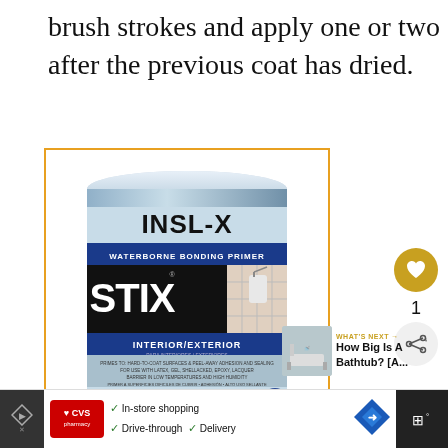brush strokes and apply one or two additional coats after the previous coat has dried.
[Figure (photo): Can of INSL-X STIX Waterborne Bonding Primer, Interior/Exterior, Urethane Acrylic, with orange border frame]
WHAT'S NEXT → How Big Is A Bathtub? [A...
In-store shopping  Drive-through  Delivery